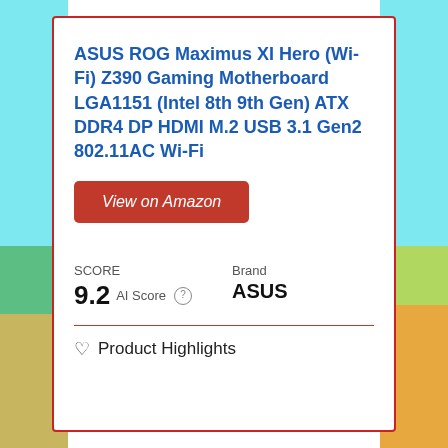ASUS ROG Maximus XI Hero (Wi-Fi) Z390 Gaming Motherboard LGA1151 (Intel 8th 9th Gen) ATX DDR4 DP HDMI M.2 USB 3.1 Gen2 802.11AC Wi-Fi
View on Amazon
SCORE
9.2 AI Score
Brand
ASUS
♡ Product Highlights